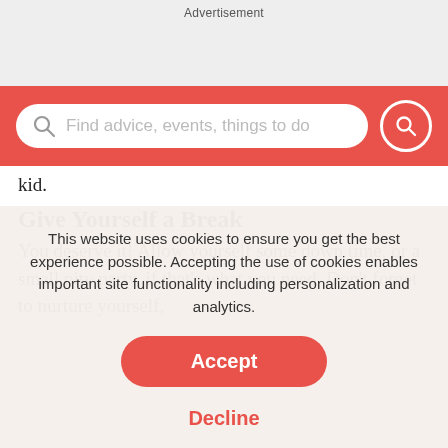Advertisement
[Figure (screenshot): Search bar with red background, magnifying glass icon on left, placeholder text 'Find advice, events, things to do', and red circular search button on right]
kid.
Give Yourself a Break
You deserve it! Allow yourself some down time, or a small pity party, if that's what you need. Don't forget to nurture yourself,
This website uses cookies to ensure you get the best experience possible. Accepting the use of cookies enables important site functionality including personalization and analytics.
Accept
Decline